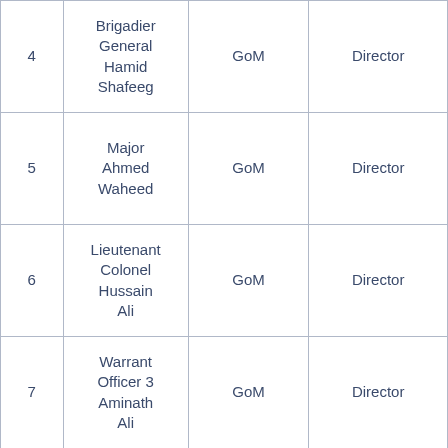| # | Name | Organization | Position |
| --- | --- | --- | --- |
| 4 | Brigadier General Hamid Shafeeg | GoM | Director |
| 5 | Major Ahmed Waheed | GoM | Director |
| 6 | Lieutenant Colonel Hussain Ali | GoM | Director |
| 7 | Warrant Officer 3 Aminath Ali | GoM | Director |